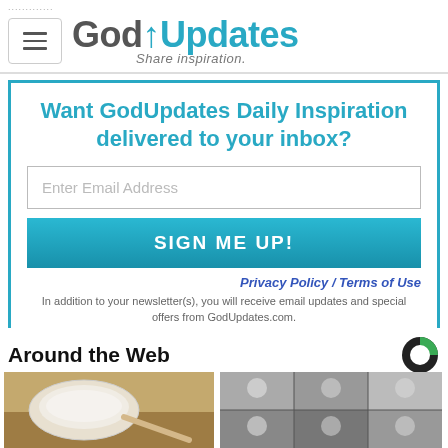GodUpdates — Share inspiration.
Want GodUpdates Daily Inspiration delivered to your inbox?
Enter Email Address
SIGN ME UP!
Privacy Policy / Terms of Use
In addition to your newsletter(s), you will receive email updates and special offers from GodUpdates.com.
Around the Web
[Figure (photo): A white plastic measuring scoop filled with white powder, resting on a wooden surface.]
[Figure (photo): A 2x3 grid of black and white portrait photos of women.]